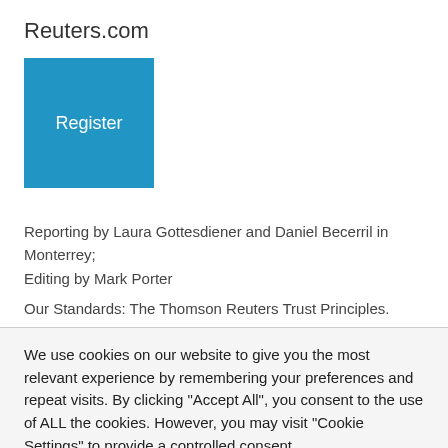Reuters.com
[Figure (other): Blue Register button square]
Reporting by Laura Gottesdiener and Daniel Becerril in Monterrey; Editing by Mark Porter
Our Standards: The Thomson Reuters Trust Principles.
We use cookies on our website to give you the most relevant experience by remembering your preferences and repeat visits. By clicking "Accept All", you consent to the use of ALL the cookies. However, you may visit "Cookie Settings" to provide a controlled consent.
Cookie Settings
Accept All